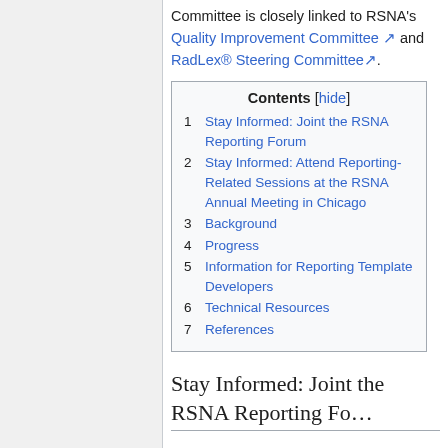Committee is closely linked to RSNA's Quality Improvement Committee and RadLex® Steering Committee.
| Contents [hide] |
| --- |
| 1 Stay Informed: Joint the RSNA Reporting Forum |
| 2 Stay Informed: Attend Reporting-Related Sessions at the RSNA Annual Meeting in Chicago |
| 3 Background |
| 4 Progress |
| 5 Information for Reporting Template Developers |
| 6 Technical Resources |
| 7 References |
Stay Informed: Joint the RSNA Reporting Forum